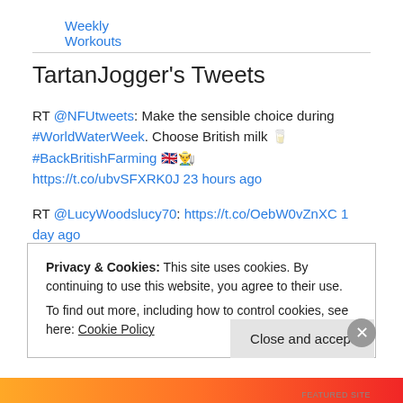Weekly Workouts
TartanJogger's Tweets
RT @NFUtweets: Make the sensible choice during #WorldWaterWeek. Choose British milk 🥛 #BackBritishFarming 🇬🇧👨‍🌾 https://t.co/ubvSFXRK0J 23 hours ago
RT @LucyWoodslucy70: https://t.co/OebW0vZnXC 1 day ago
RT @MichaelRosenYes: If you're planning on a long journey with children, why not take some books either to read to them or for them to read… 1 day ago
Privacy & Cookies: This site uses cookies. By continuing to use this website, you agree to their use. To find out more, including how to control cookies, see here: Cookie Policy